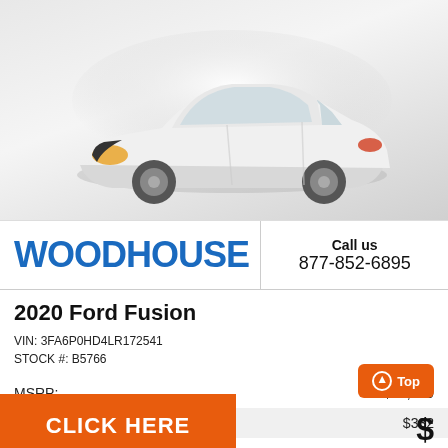[Figure (photo): White 2020 Ford Fusion sedan photographed at three-quarter front angle on a light grey gradient background]
WOODHOUSE
Call us
877-852-6895
2020 Ford Fusion
VIN: 3FA6P0HD4LR172541
STOCK #: B5766
MSRP:	$24,999
Dealer Discount	$332
CLICK HERE
Top